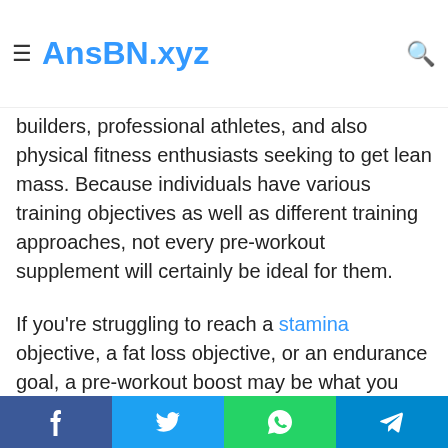AnsBN.xyz
builders, professional athletes, and also physical fitness enthusiasts seeking to get lean mass. Because individuals have various training objectives as well as different training approaches, not every pre-workout supplement will certainly be ideal for them.
If you're struggling to reach a stamina objective, a fat loss objective, or an endurance goal, a pre-workout boost may be what you need to hit the next degree. No artificial sweeteners or flavors – 4 Scale only has 100% all-natural components that're risk-free from adverse effects.
Whatever you want from a pre-workout remains in there: vascularity, pumps, hydration, and volatility. Instead you want a
Facebook Twitter WhatsApp Telegram